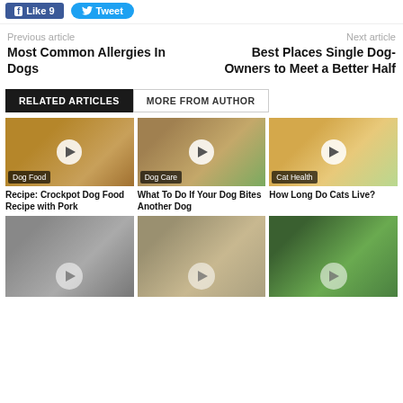[Figure (screenshot): Social share buttons: Facebook Like (9) and Twitter Tweet]
Previous article
Next article
Most Common Allergies In Dogs
Best Places Single Dog-Owners to Meet a Better Half
RELATED ARTICLES
MORE FROM AUTHOR
[Figure (photo): Dog food in bowl with pork - video thumbnail with play button, Dog Food category badge]
Recipe: Crockpot Dog Food Recipe with Pork
[Figure (photo): Dog biting another dog outdoors - video thumbnail with play button, Dog Care category badge]
What To Do If Your Dog Bites Another Dog
[Figure (photo): Orange cat close-up - video thumbnail with play button, Cat Health category badge]
How Long Do Cats Live?
[Figure (photo): Three more article thumbnails partially visible at bottom with play buttons]
Three more partially visible article cards at bottom